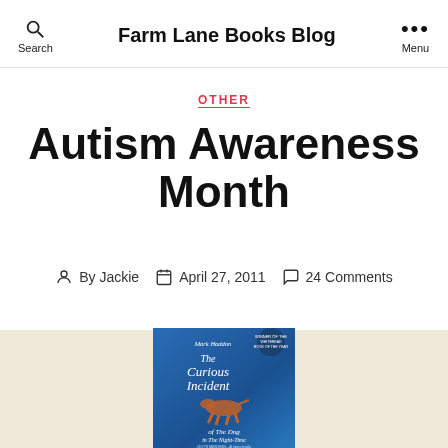Farm Lane Books Blog
OTHER
Autism Awareness Month
By Jackie  April 27, 2011  24 Comments
[Figure (photo): Book cover of 'The Curious Incident of the Dog in the Night-Time' by Mark Haddon, blue cover with a dog illustration]